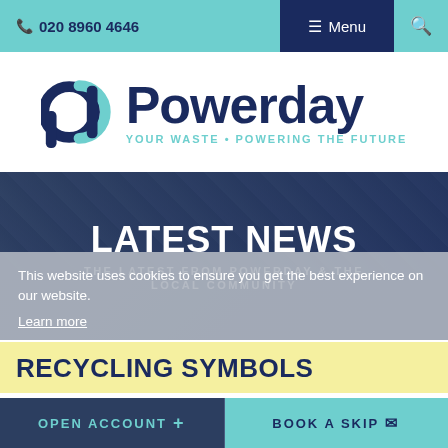☎ 020 8960 4646   ☰ Menu   🔍
[Figure (logo): Powerday logo with circular 'pd' icon in dark navy and cyan, text 'Powerday' in dark navy, tagline 'YOUR WASTE • POWERING THE FUTURE' in cyan]
LATEST NEWS
THE LATEST FROM POWERDAY & THE LOCAL COMMUNITY
This website uses cookies to ensure you get the best experience on our website.
Learn more
RECYCLING SYMBOLS
OPEN ACCOUNT +   BOOK A SKIP ✉